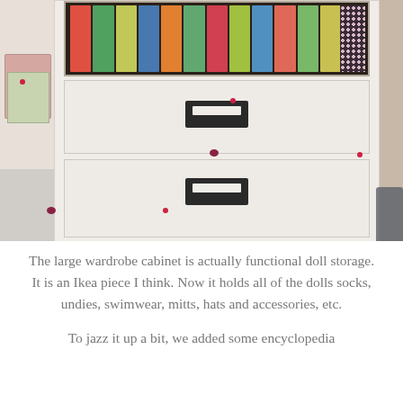[Figure (photo): A white wardrobe cabinet with two drawers featuring black label-holder handles. The top section has a glass panel showing colorful spines (books or tubes) and a dark floral box. To the left is a smaller white shelving unit with a decorative item. Small red dot stickers are visible on the cabinet. A trash can is partially visible on the right.]
The large wardrobe cabinet is actually functional doll storage. It is an Ikea piece I think. Now it holds all of the dolls socks, undies, swimwear, mitts, hats and accessories, etc.
To jazz it up a bit, we added some encyclopedia